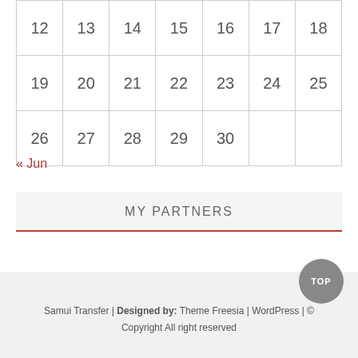| 12 | 13 | 14 | 15 | 16 | 17 | 18 |
| 19 | 20 | 21 | 22 | 23 | 24 | 25 |
| 26 | 27 | 28 | 29 | 30 |  |  |
« Jun
MY PARTNERS
Samui Transfer | Designed by: Theme Freesia | WordPress | © Copyright All right reserved